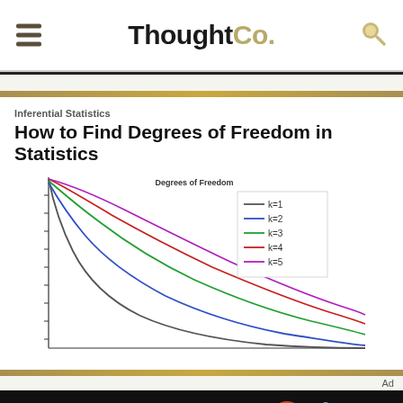ThoughtCo.
Inferential Statistics
How to Find Degrees of Freedom in Statistics
[Figure (continuous-plot): Chi-squared distribution curves for degrees of freedom k=1 (gray), k=2 (blue), k=3 (green), k=4 (red), k=5 (magenta/pink). All curves start high at the left and decay toward zero as x increases. Title partially visible: 'Degrees of Freedom'. Legend shows colored lines for each k value.]
We help people find answers, solve problems and get inspired. Dotdash meredith